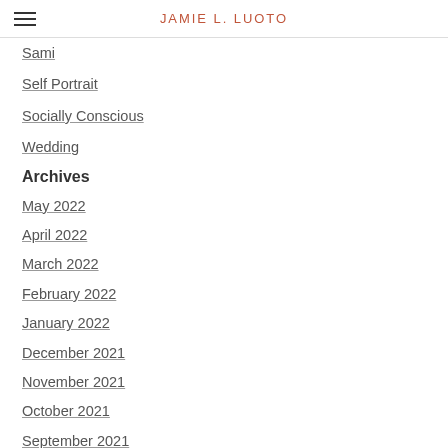JAMIE L. LUOTO
Sami
Self Portrait
Socially Conscious
Wedding
Archives
May 2022
April 2022
March 2022
February 2022
January 2022
December 2021
November 2021
October 2021
September 2021
August 2021